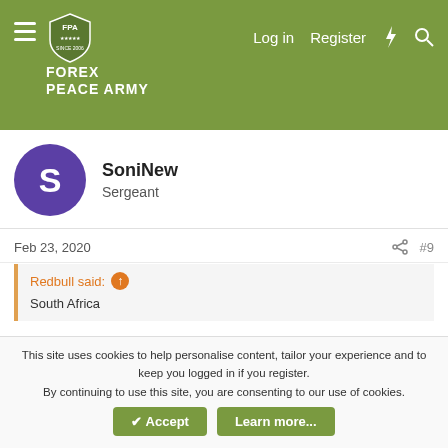FOREX PEACE ARMY — Log in  Register
SoniNew
Sergeant
Feb 23, 2020  #9
Redbull said: ↑
South Africa
It is relevant due to the fact that XM are regulated by cysec, and SA falls under there jurisdiction - so for the start, you can file a complaint with CySEC, notifying XM about this of course.
But also if you could respond to @4evermaat so he can help
This site uses cookies to help personalise content, tailor your experience and to keep you logged in if you register.
By continuing to use this site, you are consenting to our use of cookies.